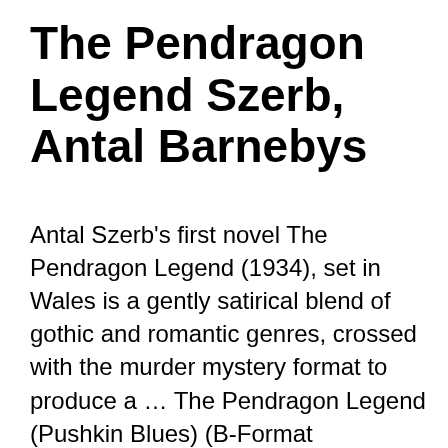The Pendragon Legend Szerb, Antal Barnebys
Antal Szerb's first novel The Pendragon Legend (1934), set in Wales is a gently satirical blend of gothic and romantic genres, crossed with the murder mystery format to produce a … The Pendragon Legend (Pushkin Blues) (B-Format Paperback) by Antal Szerb at AbeBooks.co.uk - ISBN 10: 1901285898 - ISBN 13: 9781901285895 - Pushkin Press - 2007 - Softcover About Press Copyright Contact us Creators Advertise Developers Terms Privacy Policy & Safety How YouTube works Test new features Press Copyright Contact us Creators The Pendragon Legend Antal